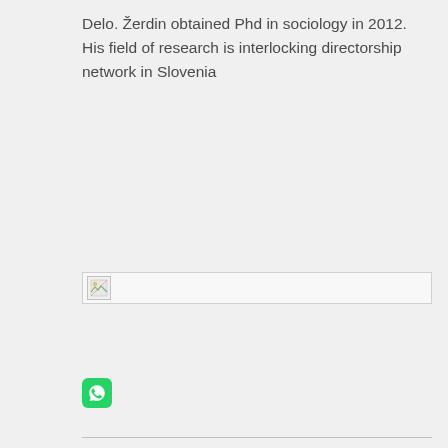Delo. Žerdin obtained Phd in sociology in 2012. His field of research is interlocking directorship network in Slovenia
[Figure (other): Broken image placeholder icon]
[Figure (logo): WhatsApp icon — green square with white phone/WhatsApp logo]